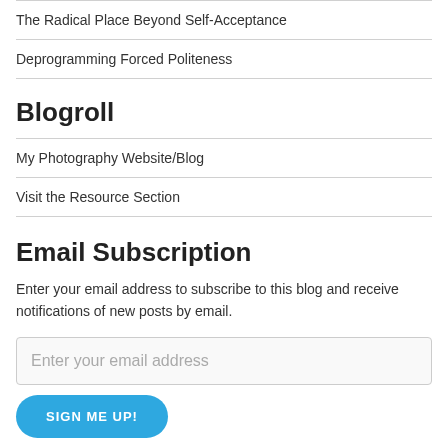The Radical Place Beyond Self-Acceptance
Deprogramming Forced Politeness
Blogroll
My Photography Website/Blog
Visit the Resource Section
Email Subscription
Enter your email address to subscribe to this blog and receive notifications of new posts by email.
Enter your email address
SIGN ME UP!